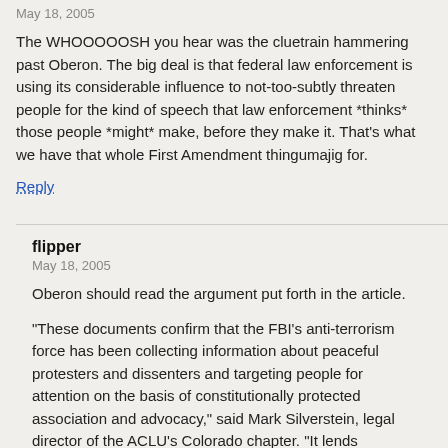May 18, 2005
The WHOOOOOSH you hear was the cluetrain hammering past Oberon. The big deal is that federal law enforcement is using its considerable influence to not-too-subtly threaten people for the kind of speech that law enforcement *thinks* those people *might* make, before they make it. That's what we have that whole First Amendment thingumajig for.
Reply
flipper
May 18, 2005
Oberon should read the argument put forth in the article.
“These documents confirm that the FBI’s anti-terrorism force has been collecting information about peaceful protesters and dissenters and targeting people for attention on the basis of constitutionally protected association and advocacy,” said Mark Silverstein, legal director of the ACLU’s Colorado chapter. “It lends credence to what a lot of critics